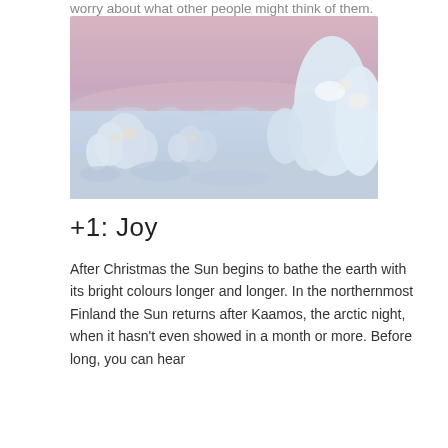worry about what other people might think of them.
[Figure (photo): Winter landscape with snow-covered trees under a pink and lavender twilight sky in northern Finland (Kaamos/arctic night setting)]
+1: Joy
After Christmas the Sun begins to bathe the earth with its bright colours longer and longer. In the northernmost Finland the Sun returns after Kaamos, the arctic night, when it hasn't even showed in a month or more. Before long, you can hear